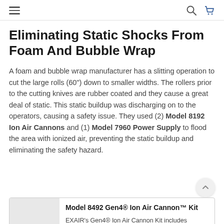Navigation header with hamburger menu, search icon, and cart icon
Eliminating Static Shocks From Foam And Bubble Wrap
A foam and bubble wrap manufacturer has a slitting operation to cut the large rolls (60") down to smaller widths. The rollers prior to the cutting knives are rubber coated and they cause a great deal of static. This static buildup was discharging on to the operators, causing a safety issue. They used (2) Model 8192 Ion Air Cannons and (1) Model 7960 Power Supply to flood the area with ionized air, preventing the static buildup and eliminating the safety hazard.
[Figure (other): Scroll-to-top button (circular arrow up)]
| Image | Product Info |
| --- | --- |
| [product image placeholder] | Model 8492 Gen4® Ion Air Cannon™ Kit
EXAIR's Gen4® Ion Air Cannon Kit includes everything needed to connect and start using right away! The Gen4 Ion Air Cannon neutralizes static charges and cleans as it... |
Model 8492 Gen4® Ion Air Cannon™ Kit